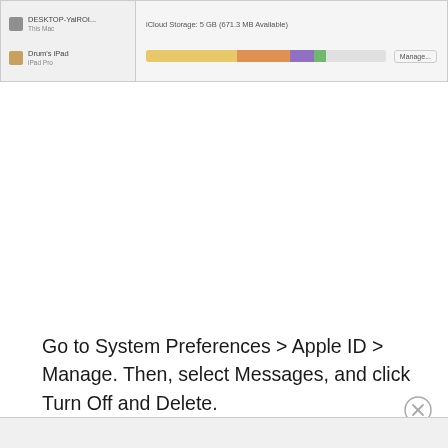[Figure (screenshot): Screenshot of iCloud System Preferences showing device list on left (DESKTOP and Drum's iPad) and iCloud Storage bar on right with colored segments and a Manage... button]
Go to System Preferences > Apple ID > Manage. Then, select Messages, and click Turn Off and Delete.